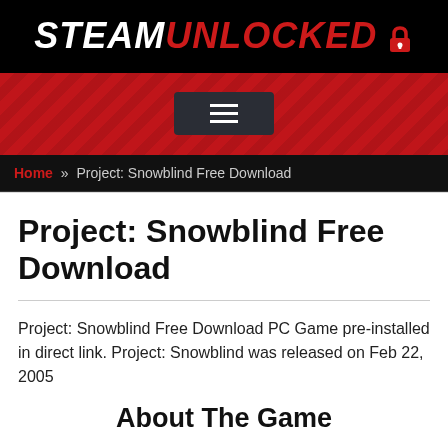STEAMUNLOCKED
[Figure (other): Hamburger menu button on red textured banner background]
Home » Project: Snowblind Free Download
Project: Snowblind Free Download
Project: Snowblind Free Download PC Game pre-installed in direct link. Project: Snowblind was released on Feb 22, 2005
About The Game